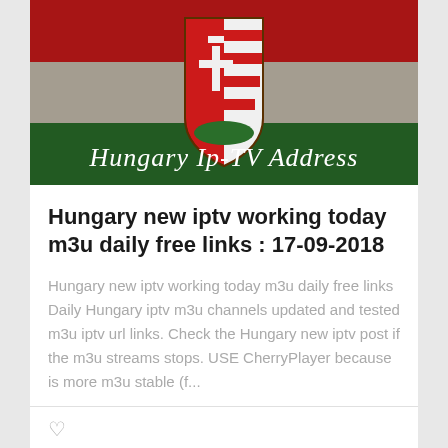[Figure (illustration): Hungary flag-style image with national coat of arms and text 'Hungary Ip-TV Address']
Hungary new iptv working today m3u daily free links : 17-09-2018
Hungary new iptv working today m3u daily free links Daily Hungary iptv m3u channels updated and tested m3u iptv url links. Check the Hungary new iptv post if the m3u streams stops. USE CherryPlayer because is more m3u stable (f...
[Figure (photo): Black rectangular image, bottom of page, partially visible]